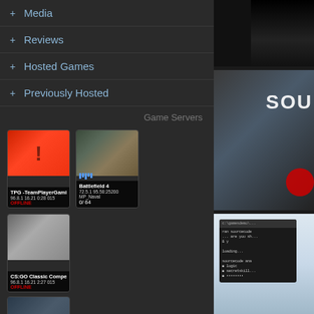+ Media
+ Reviews
+ Hosted Games
+ Previously Hosted
Game Servers
[Figure (screenshot): TPG -TeamPlayerGami server card, IP 96.8.1 16.21 0:28 015, OFFLINE status, red background with exclamation mark]
[Figure (screenshot): Battlefield 4 server card, IP 72.5.1 95.58:25200, MP_Naval map, 0/64 players]
[Figure (screenshot): CS:GO Classic Compet server card, IP 96.8.1 16.21 2:27 015, OFFLINE status]
[Figure (screenshot): ArmA III TacBF server card, IP 96.8.1 16.21 3:23 02, OFFLINE status]
Advertisement
[Figure (screenshot): Right panel showing game screenshots - top black area, middle SOU text on action scene, bottom terminal/command prompt screenshot]